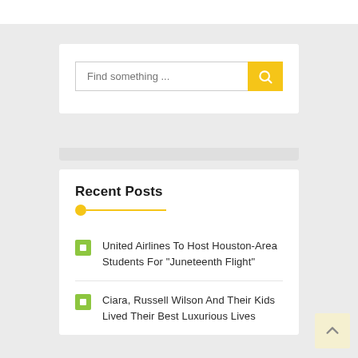[Figure (screenshot): Search bar widget with placeholder text 'Find something ...' and a yellow search button with magnifying glass icon]
Recent Posts
United Airlines To Host Houston-Area Students For "Juneteenth Flight"
Ciara, Russell Wilson And Their Kids Lived Their Best Luxurious Lives